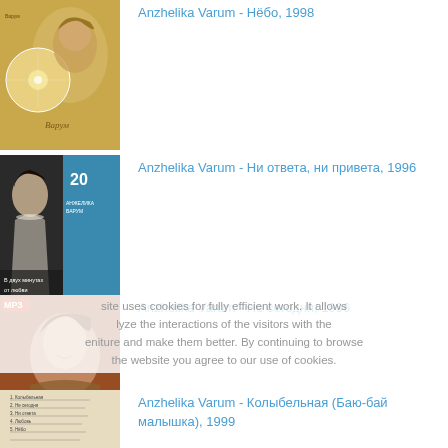[Figure (photo): Album cover thumbnail for 'Нёбо, 1998' - a CD with woman's face on golden background]
Anzhelika Varum - Нёбо, 1998
[Figure (photo): Album cover thumbnail for 'Ни ответа, ни привета, 1996' - collage of woman in white dress and blue background with text 'В двух минутах от любви']
Anzhelika Varum - Ни ответа, ни привета, 1996
[Figure (photo): Album cover thumbnail - MP3 compilation, woman in brown fur, title 'Варум']
Anzhelika Varum - Не сегодня, 1996
This site uses cookies for fully efficient work. It allows to analyze the interactions of the visitors with the website and make them better. By continuing to browse the website you agree to our use of cookies.
[Figure (photo): Partial album cover thumbnail for 'Колыбельная (Баю-бай малышка), 1999' - beige cover with text list]
Anzhelika Varum - Колыбельная (Баю-бай малышка), 1999